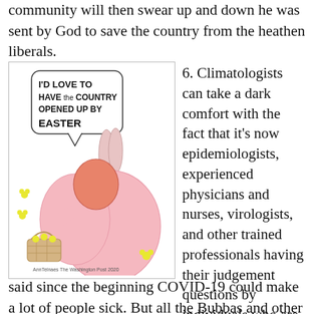community will then swear up and down he was sent by God to save the country from the heathen liberals.
[Figure (illustration): Editorial cartoon showing a figure dressed in a pink Easter bunny costume, seen from behind, holding a basket of flowers. A speech bubble reads: 'I'D LOVE TO HAVE THE COUNTRY OPENED UP BY EASTER'. Signed by Ann Telnaes, The Washington Post, 2020.]
6. Climatologists can take a dark comfort with the fact that it's now epidemiologists, experienced physicians and nurses, virologists, and other trained professionals having their judgement questions by individuals who are lucky to have a high school diploma. The science types have said since the beginning COVID-19 could make a lot of people sick. But all the Bubbas and other assorted trailer trash were convinced by their degenerate, reality television
said since the beginning COVID-19 could make a lot of people sick. But all the Bubbas and other assorted trailer trash were convinced by their degenerate, reality television